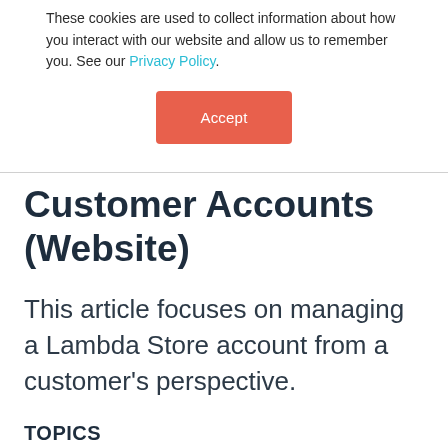These cookies are used to collect information about how you interact with our website and allow us to remember you. See our Privacy Policy.
[Figure (other): Accept button — salmon/coral colored rectangular button with white text 'Accept']
Customer Accounts (Website)
This article focuses on managing a Lambda Store account from a customer's perspective.
TOPICS